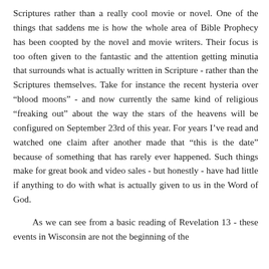Scriptures rather than a really cool movie or novel. One of the things that saddens me is how the whole area of Bible Prophecy has been coopted by the novel and movie writers. Their focus is too often given to the fantastic and the attention getting minutia that surrounds what is actually written in Scripture - rather than the Scriptures themselves. Take for instance the recent hysteria over “blood moons” - and now currently the same kind of religious “freaking out” about the way the stars of the heavens will be configured on September 23rd of this year. For years I’ve read and watched one claim after another made that “this is the date” because of something that has rarely ever happened. Such things make for great book and video sales - but honestly - have had little if anything to do with what is actually given to us in the Word of God.

As we can see from a basic reading of Revelation 13 - these events in Wisconsin are not the beginning of the